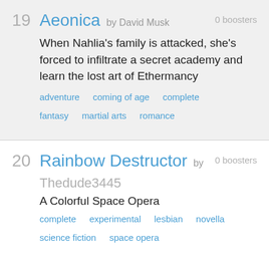19 Aeonica by David Musk — 0 boosters — When Nahlia's family is attacked, she's forced to infiltrate a secret academy and learn the lost art of Ethermancy — Tags: adventure, coming of age, complete, fantasy, martial arts, romance
20 Rainbow Destructor by Thedude3445 — 0 boosters — A Colorful Space Opera — Tags: complete, experimental, lesbian, novella, science fiction, space opera